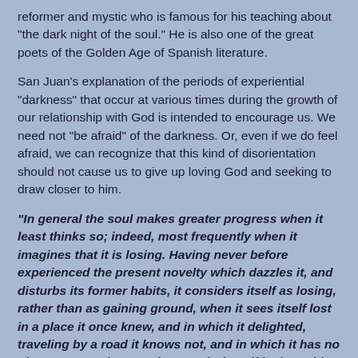reformer and mystic who is famous for his teaching about "the dark night of the soul." He is also one of the great poets of the Golden Age of Spanish literature.
San Juan's explanation of the periods of experiential "darkness" that occur at various times during the growth of our relationship with God is intended to encourage us. We need not "be afraid" of the darkness. Or, even if we do feel afraid, we can recognize that this kind of disorientation should not cause us to give up loving God and seeking to draw closer to him.
"In general the soul makes greater progress when it least thinks so; indeed, most frequently when it imagines that it is losing. Having never before experienced the present novelty which dazzles it, and disturbs its former habits, it considers itself as losing, rather than as gaining ground, when it sees itself lost in a place it once knew, and in which it delighted, traveling by a road it knows not, and in which it has no pleasure... But inasmuch as God Himself is the guide of the soul in its blindness, the soul may well exult and say, 'In...